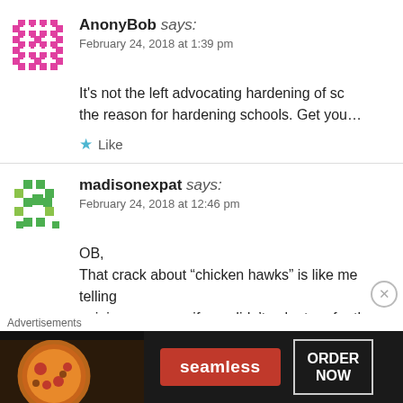[Figure (illustration): Pink/magenta pixel-art avatar for AnonyBob]
AnonyBob says:
February 24, 2018 at 1:39 pm
It's not the left advocating hardening of sc... the reason for hardening schools. Get you...
★ Like
[Figure (illustration): Green pixel-art avatar for madisonexpat]
madisonexpat says:
February 24, 2018 at 12:46 pm
OB,
That crack about “chicken hawks” is like me telling... opinion on peace if you didn’t volunteer for the Pe... because its stupid.
Advertisements
[Figure (photo): Seamless food delivery advertisement showing pizza with ORDER NOW button]